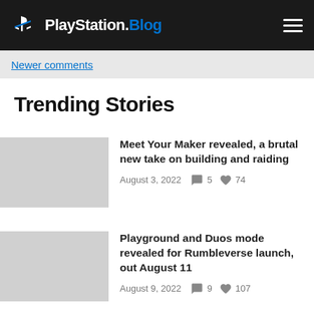PlayStation.Blog
Newer comments
Trending Stories
Meet Your Maker revealed, a brutal new take on building and raiding
August 3, 2022  💬 5  ♥ 74
Playground and Duos mode revealed for Rumbleverse launch, out August 11
August 9, 2022  💬 9  ♥ 107